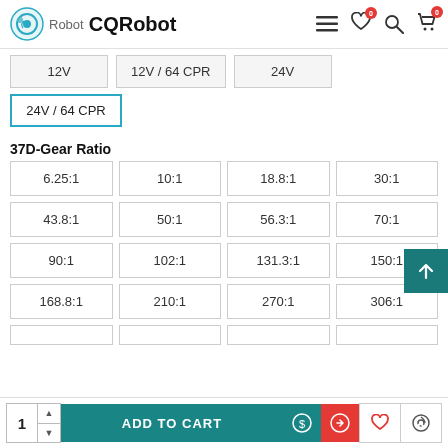Robot CQRobot
| 12V | 12V / 64 CPR | 24V |
| 24V / 64 CPR |  |  |
37D-Gear Ratio
| 6.25:1 | 10:1 | 18.8:1 | 30:1 |
| 43.8:1 | 50:1 | 56.3:1 | 70:1 |
| 90:1 | 102:1 | 131.3:1 | 150:1 |
| 168.8:1 | 210:1 | 270:1 | 306:1 |
1   ADD TO CART